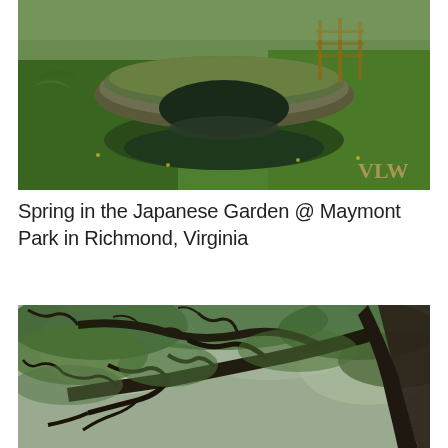[Figure (photo): A moss-covered stone arch bridge over a small stream in a lush green Japanese garden at Maymont Park, Richmond, Virginia. A wooden fence is visible in the background. Watermark 'VLW' in lower right corner.]
Spring in the Japanese Garden @ Maymont Park in Richmond, Virginia
[Figure (photo): Looking up through a canopy of dramatically twisted and gnarled tree branches with green foliage against a light sky, taken at Maymont Park, Richmond, Virginia.]